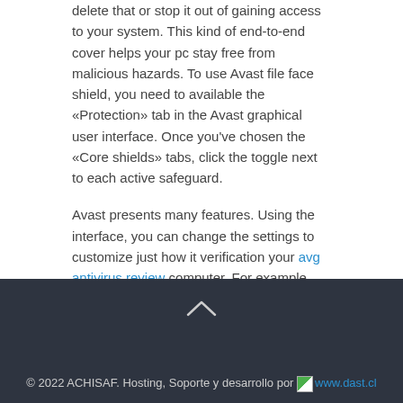delete that or stop it out of gaining access to your system. This kind of end-to-end cover helps your pc stay free from malicious hazards. To use Avast file face shield, you need to available the «Protection» tab in the Avast graphical user interface. Once you've chosen the «Core shields» tabs, click the toggle next to each active safeguard.
Avast presents many features. Using the interface, you can change the settings to customize just how it verification your avg antivirus review computer. For example , you can customize the sort of scanning approach you want to work with. By choosing a main action, you can control the fact that program performs. Once the course detects a threat, you can choose the default action, or maybe a manual actions like removing or fixing the file. Avast comes with a on-screen help section that may guide you throughout the process step-by-step.
© 2022 ACHISAF. Hosting, Soporte y desarrollo por www.dast.cl